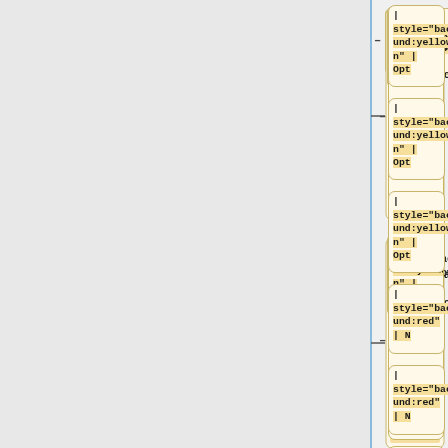[Figure (flowchart): A vertical flowchart/tree diagram showing nodes connected by a blue vertical line on the left. Each node is a rounded rectangle card with yellowgreen or red background styling. Cards contain wiki-table markup snippets: '| style="background:yellowgreen" | Opt' (three times) and '| style="background:red" | N' (two times), with a sixth partial card visible at the bottom.]
| style="background:yellowgreen" | Opt
| style="background:yellowgreen" | Opt
| style="background:yellowgreen" | Opt
| style="background:red" | N
| style="background:red" | N
|